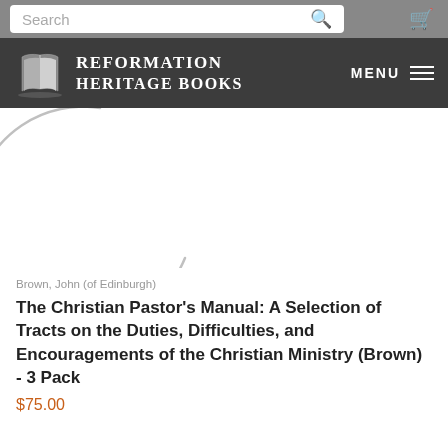Search
[Figure (logo): Reformation Heritage Books logo with open book icon and white text on dark background, with MENU button]
[Figure (illustration): Partial circular arc/loading spinner graphic in light gray on white background, suggesting a book cover image is loading]
Brown, John (of Edinburgh)
The Christian Pastor's Manual: A Selection of Tracts on the Duties, Difficulties, and Encouragements of the Christian Ministry (Brown) - 3 Pack
$75.00